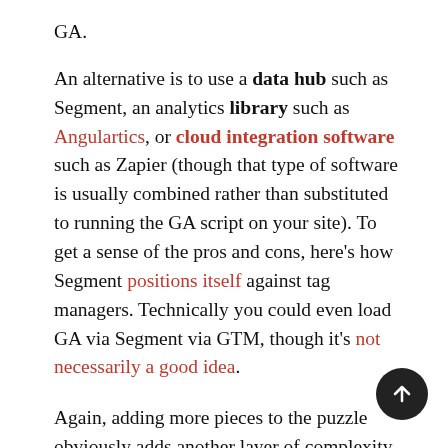GA.
An alternative is to use a data hub such as Segment, an analytics library such as Angulartics, or cloud integration software such as Zapier (though that type of software is usually combined rather than substituted to running the GA script on your site). To get a sense of the pros and cons, here’s how Segment positions itself against tag managers. Technically you could even load GA via Segment via GTM, though it’s not necessarily a good idea.
Again, adding more pieces to the puzzle obviously adds another layer of complexity that introduces its own potential bugs and outages. Verify that the interaction points do work, and avoid running the